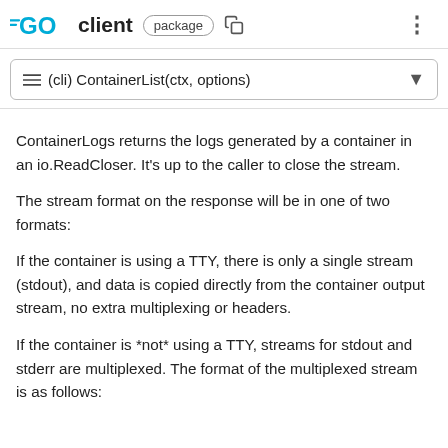GO client package
(cli) ContainerList(ctx, options)
ContainerLogs returns the logs generated by a container in an io.ReadCloser. It's up to the caller to close the stream.
The stream format on the response will be in one of two formats:
If the container is using a TTY, there is only a single stream (stdout), and data is copied directly from the container output stream, no extra multiplexing or headers.
If the container is *not* using a TTY, streams for stdout and stderr are multiplexed. The format of the multiplexed stream is as follows: